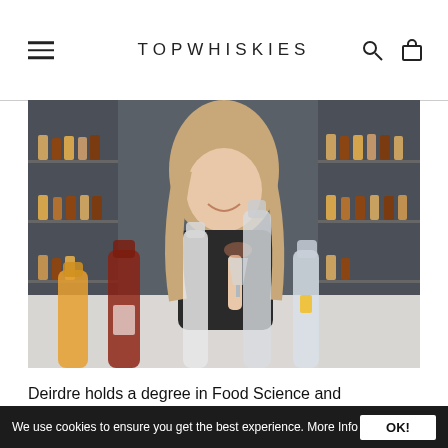TOPWHISKIES
[Figure (photo): Woman smiling and holding a wine glass at a bar counter with multiple bottles in the foreground and a large shelf of whisky bottles in the background.]
Deirdre holds a degree in Food Science and Technology from University College Cork and a diploma in Distilling from the Institute of Brewing and Distilling. Deirdre
We use cookies to ensure you get the best experience. More Info